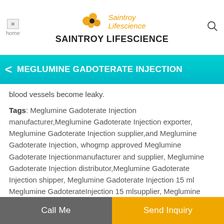SAINTROY LIFESCIENCE
MEGLUMINE GADOTERATE INJECTION
blood vessels become leaky.
Tags: Meglumine Gadoterate Injection manufacturer,Meglumine Gadoterate Injection exporter, Meglumine Gadoterate Injection supplier,and Meglumine Gadoterate Injection, whogmp approved Meglumine Gadoterate Injectionmanufacturer and supplier, Meglumine Gadoterate Injection distributor,Meglumine Gadoterate Injection shipper, Meglumine Gadoterate Injection 15 ml Meglumine GadoterateInjection 15 mlsupplier, Meglumine Gadoterate Injection15 ml.
Call Me | Send Inquiry